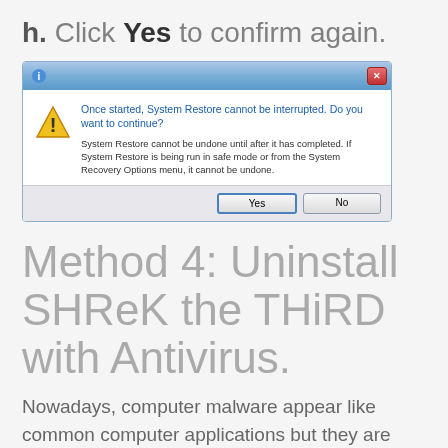h. Click Yes to confirm again.
[Figure (screenshot): Windows dialog box: 'Once started, System Restore cannot be interrupted. Do you want to continue?' with Yes and No buttons.]
Method 4: Uninstall SHReK the THiRD with Antivirus.
Nowadays, computer malware appear like common computer applications but they are much more difficult to remove from the computer. Such malware get into the